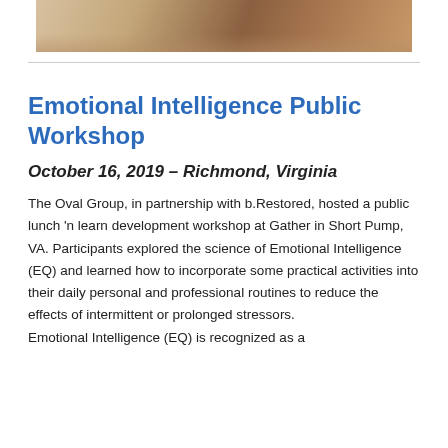[Figure (photo): Partial photo of people at a workshop or event, cropped at top of page]
Emotional Intelligence Public Workshop
October 16, 2019 – Richmond, Virginia
The Oval Group, in partnership with b.Restored, hosted a public lunch 'n learn development workshop at Gather in Short Pump, VA. Participants explored the science of Emotional Intelligence (EQ) and learned how to incorporate some practical activities into their daily personal and professional routines to reduce the effects of intermittent or prolonged stressors. Emotional Intelligence (EQ) is recognized as a